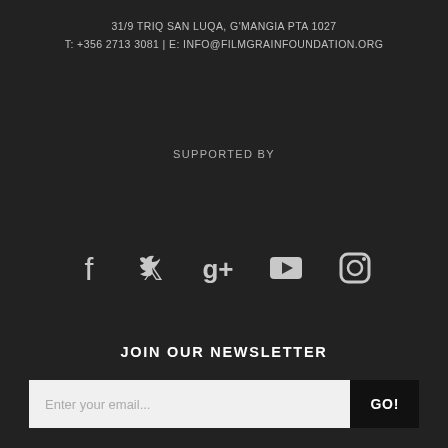31/9 TRIQ SAN LUQA, G'MANGIA PTA 1027
T: +356 2713 3081 | E: INFO@FILMGRAINFOUNDATION.ORG
SUPPORTED BY
[Figure (illustration): Social media icons: Facebook, Twitter, Google+, YouTube, Instagram]
JOIN OUR NEWSLETTER
Enter your email...  GO!